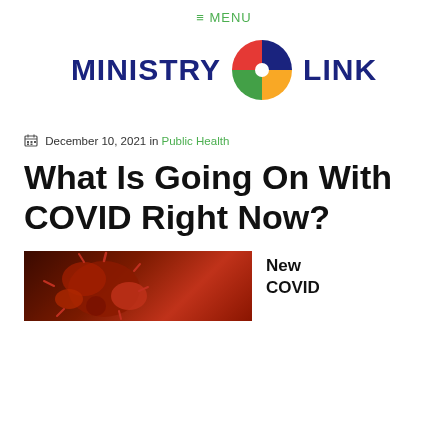≡ MENU
[Figure (logo): Ministry Link logo with four-quadrant circle icon in red, blue, green, and yellow colors, with bold dark blue text reading MINISTRY LINK]
December 10, 2021 in Public Health
What Is Going On With COVID Right Now?
[Figure (photo): Close-up photo of red coronavirus particles on dark background]
New COVID